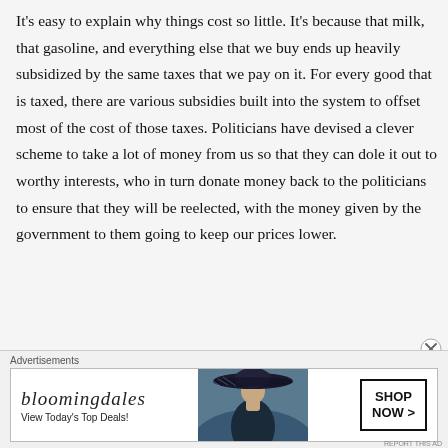It's easy to explain why things cost so little. It's because that milk, that gasoline, and everything else that we buy ends up heavily subsidized by the same taxes that we pay on it. For every good that is taxed, there are various subsidies built into the system to offset most of the cost of those taxes. Politicians have devised a clever scheme to take a lot of money from us so that they can dole it out to worthy interests, who in turn donate money back to the politicians to ensure that they will be reelected, with the money given by the government to them going to keep our prices lower.
[Figure (other): Bloomingdale's advertisement banner with logo, tagline 'View Today's Top Deals!', a woman wearing a large brimmed hat, and a 'SHOP NOW >' button]